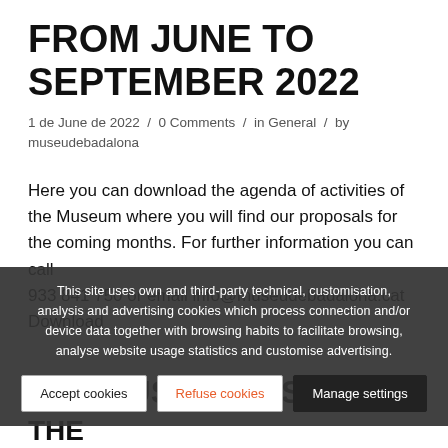FROM JUNE TO SEPTEMBER 2022
1 de June de 2022 / 0 Comments / in General / by museudebadalona
Here you can download the agenda of activities of the Museum where you will find our proposals for the coming months. For further information you can call 933 841 750 or email info@museudebadalona.cat Download
This site uses own and third-party technical, customisation, analysis and advertising cookies which process connection and/or device data together with browsing habits to facilitate browsing, analyse website usage statistics and customise advertising.
THE MUSEUM'S SUMMER THE
Accept cookies
Refuse cookies
Manage settings